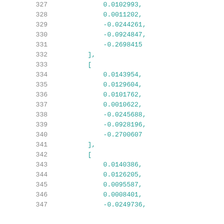327     0.0102993,
328     0.0011202,
329     -0.0244261,
330     -0.0924847,
331     -0.2698415
332  ],
333  [
334     0.0143954,
335     0.0129604,
336     0.0101762,
337     0.0010622,
338     -0.0245688,
339     -0.0928196,
340     -0.2700607
341  ],
342  [
343     0.0140386,
344     0.0126205,
345     0.0095587,
346     0.0008401,
347     -0.0249736,